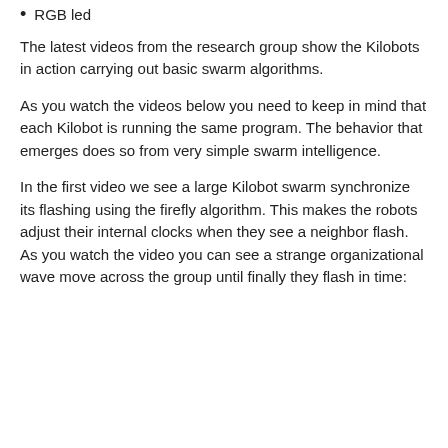RGB led
The latest videos from the research group show the Kilobots in action carrying out basic swarm algorithms.
As you watch the videos below you need to keep in mind that each Kilobot is running the same program. The behavior that emerges does so from very simple swarm intelligence.
In the first video we see a large Kilobot swarm synchronize its flashing using the firefly algorithm. This makes the robots adjust their internal clocks when they see a neighbor flash. As you watch the video you can see a strange organizational wave move across the group until finally they flash in time: